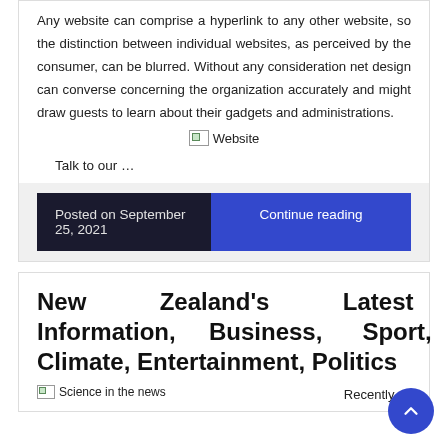Any website can comprise a hyperlink to any other website, so the distinction between individual websites, as perceived by the consumer, can be blurred. Without any consideration net design can converse concerning the organization accurately and might draw guests to learn about their gadgets and administrations.
[Figure (illustration): Broken image placeholder labeled 'Website']
Talk to our …
Posted on September 25, 2021
Continue reading
New Zealand's Latest Information, Business, Sport, Climate, Entertainment, Politics
[Figure (illustration): Broken image placeholder labeled 'Science in the news']
Recently …